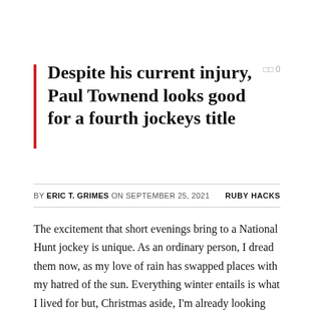Despite his current injury, Paul Townend looks good for a fourth jockeys title
BY ERIC T. GRIMES ON SEPTEMBER 25, 2021   RUBY HACKS
The excitement that short evenings bring to a National Hunt jockey is unique. As an ordinary person, I dread them now, as my love of rain has swapped places with my hatred of the sun. Everything winter entails is what I lived for but, Christmas aside, I'm already looking forward to spring.
The excitement at the dawn of autumn in August – yes, that's when it officially begins – and Willie Mullins' yard filled with fat